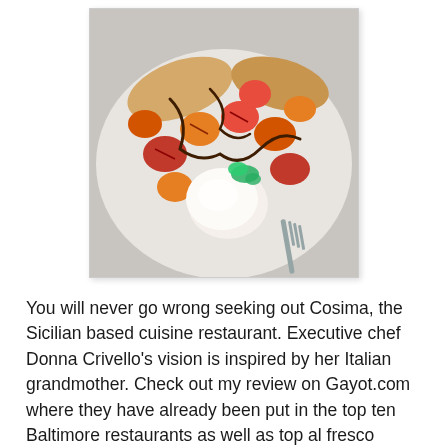[Figure (photo): A plate of caprese-style dish with colorful heirloom tomatoes (red, orange, yellow), a ball of fresh burrata or mozzarella cheese, green microgreens, and a balsamic glaze drizzle, served on a white plate with a fork visible at the bottom right.]
You will never go wrong seeking out Cosima, the Sicilian based cuisine restaurant. Executive chef Donna Crivello's vision is inspired by her Italian grandmother. Check out my review on Gayot.com where they have already been put in the top ten Baltimore restaurants as well as top al fresco dining.